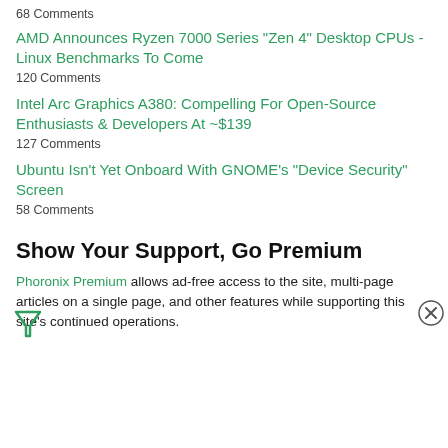68 Comments
AMD Announces Ryzen 7000 Series "Zen 4" Desktop CPUs - Linux Benchmarks To Come
120 Comments
Intel Arc Graphics A380: Compelling For Open-Source Enthusiasts & Developers At ~$139
127 Comments
Ubuntu Isn't Yet Onboard With GNOME's "Device Security" Screen
58 Comments
Show Your Support, Go Premium
Phoronix Premium allows ad-free access to the site, multi-page articles on a single page, and other features while supporting this site's continued operations.